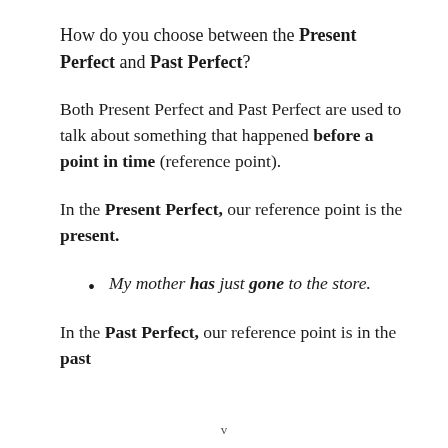How do you choose between the Present Perfect and Past Perfect?
Both Present Perfect and Past Perfect are used to talk about something that happened before a point in time (reference point).
In the Present Perfect, our reference point is the present.
My mother has just gone to the store.
In the Past Perfect, our reference point is in the past
v